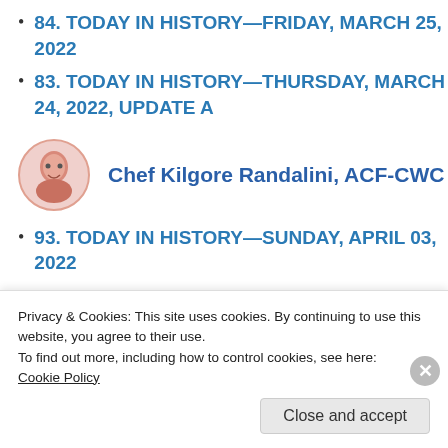84. TODAY IN HISTORY—FRIDAY, MARCH 25, 2022
83. TODAY IN HISTORY—THURSDAY, MARCH 24, 2022, UPDATE A
Chef Kilgore Randalini, ACF-CWC
93. TODAY IN HISTORY—SUNDAY, APRIL 03, 2022
92. TODAY IN HISTORY—SATURDAY, APRIL 02, 2022
Privacy & Cookies: This site uses cookies. By continuing to use this website, you agree to their use.
To find out more, including how to control cookies, see here:
Cookie Policy
Close and accept